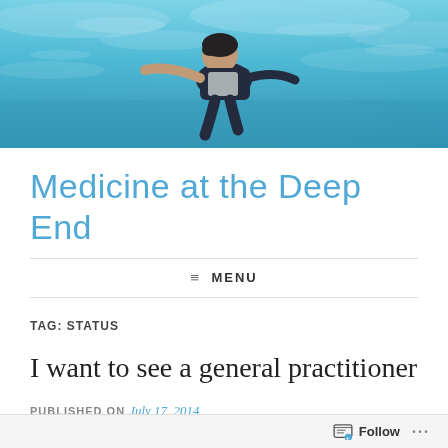[Figure (photo): Underwater photograph showing a person in dark clothing swimming or floating beneath water surface with teal/blue water and light reflections visible]
Medicine at the Deep End
≡ MENU
TAG: STATUS
I want to see a general practitioner
PUBLISHED ON July 17, 2014